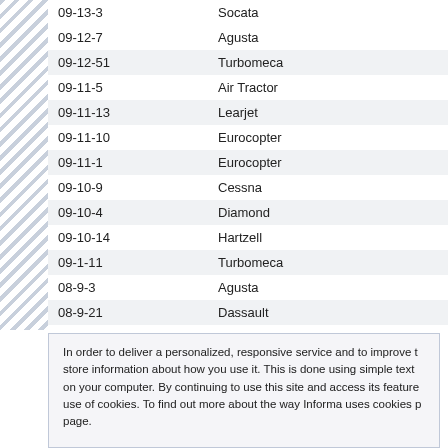| Code | Manufacturer |
| --- | --- |
| 09-13-3 | Socata |
| 09-12-7 | Agusta |
| 09-12-51 | Turbomeca |
| 09-11-5 | Air Tractor |
| 09-11-13 | Learjet |
| 09-11-10 | Eurocopter |
| 09-11-1 | Eurocopter |
| 09-10-9 | Cessna |
| 09-10-4 | Diamond |
| 09-10-14 | Hartzell |
| 09-1-11 | Turbomeca |
| 08-9-3 | Agusta |
| 08-9-21 | Dassault |
| 08-9-18 | Taylorcraft |
| 08-9-10 | Air Tractor |
| 08-8-6 | Bombardier |
In order to deliver a personalized, responsive service and to improve the site, we store information about how you use it. This is done using simple text files called cookies on your computer. By continuing to use this site and access its features, you are agreeing to our use of cookies. To find out more about the way Informa uses cookies please go to our cookie policy page.